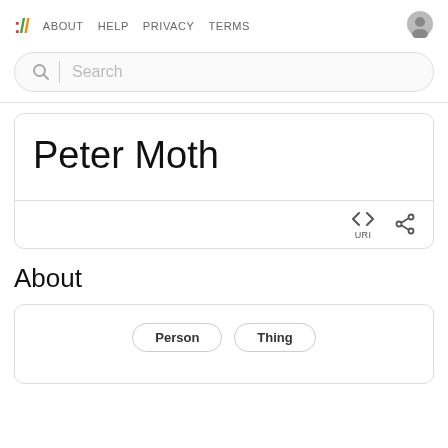:// ABOUT HELP PRIVACY TERMS
Search
Peter Moth
URI
About
Person   Thing